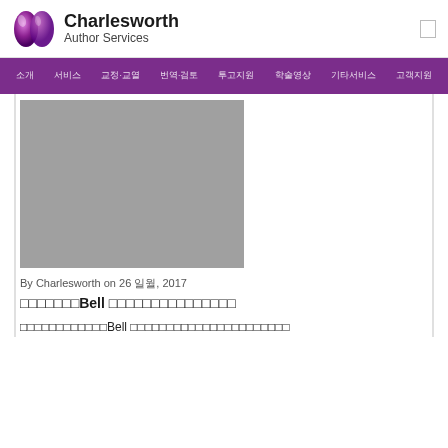[Figure (logo): Charlesworth Author Services logo with purple globe icon]
Charlesworth Author Services
소개 서비스 교정·교열 번역·검토 투고지원 학술영상 기타서비스 고객지원
[Figure (photo): Gray placeholder image for article header photo]
By Charlesworth on 26 일월, 2017
□□□□□□□Bell □□□□□□□□□□□□□□□
□□□□□□□□□□□□Bell □□□□□□□□□□□□□□□□□□□□□□